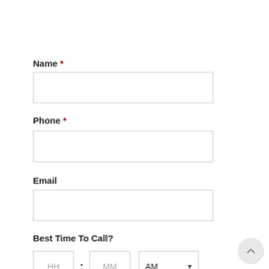Name *
[Figure (other): Empty text input field for Name]
Phone *
[Figure (other): Empty text input field for Phone]
Email
[Figure (other): Empty text input field for Email]
Best Time To Call?
[Figure (other): Time picker with HH and MM input boxes and AM/PM dropdown]